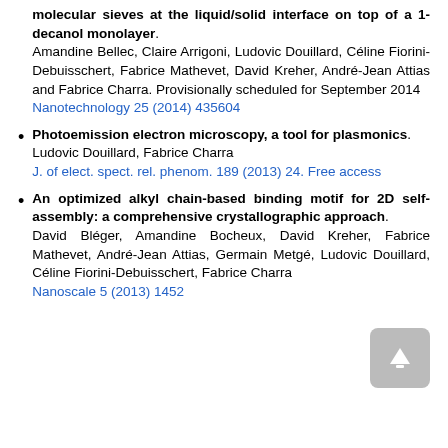molecular sieves at the liquid/solid interface on top of a 1-decanol monolayer. Amandine Bellec, Claire Arrigoni, Ludovic Douillard, Céline Fiorini-Debuisschert, Fabrice Mathevet, David Kreher, André-Jean Attias and Fabrice Charra. Provisionally scheduled for September 2014 Nanotechnology 25 (2014) 435604
Photoemission electron microscopy, a tool for plasmonics. Ludovic Douillard, Fabrice Charra J. of elect. spect. rel. phenom. 189 (2013) 24. Free access
An optimized alkyl chain-based binding motif for 2D self-assembly: a comprehensive crystallographic approach. David Bléger, Amandine Bocheux, David Kreher, Fabrice Mathevet, André-Jean Attias, Germain Metgé, Ludovic Douillard, Céline Fiorini-Debuisschert, Fabrice Charra Nanoscale 5 (2013) 1452